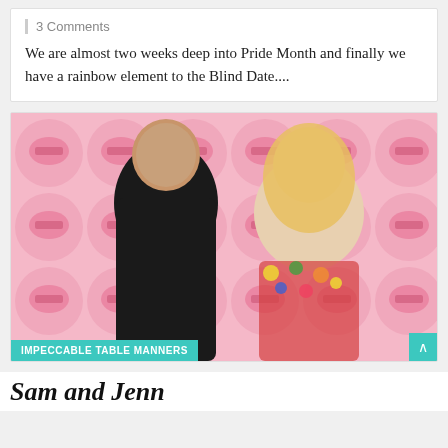3 Comments
We are almost two weeks deep into Pride Month and finally we have a rainbow element to the Blind Date....
[Figure (photo): Photo of a man and a woman posed against a pink background with repeating pink circle icons featuring a dinner plate illustration. The man is on the left wearing a black turtleneck, and the woman is on the right with blonde hair wearing a floral dress. A teal label reads 'IMPECCABLE TABLE MANNERS'.]
Sam and Jenn